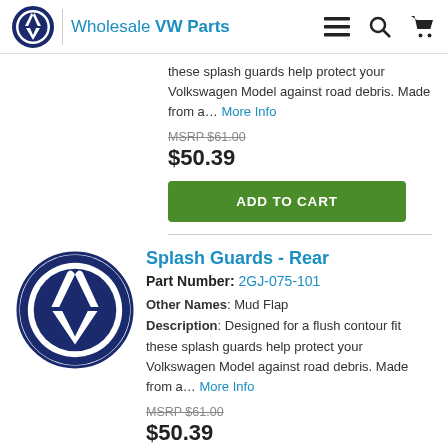Wholesale VW Parts
these splash guards help protect your Volkswagen Model against road debris. Made from a... More Info
MSRP $61.00
$50.39
ADD TO CART
Splash Guards - Rear
Part Number: 2GJ-075-101
Other Names: Mud Flap
Description: Designed for a flush contour fit these splash guards help protect your Volkswagen Model against road debris. Made from a... More Info
MSRP $61.00
$50.39
ADD TO CART